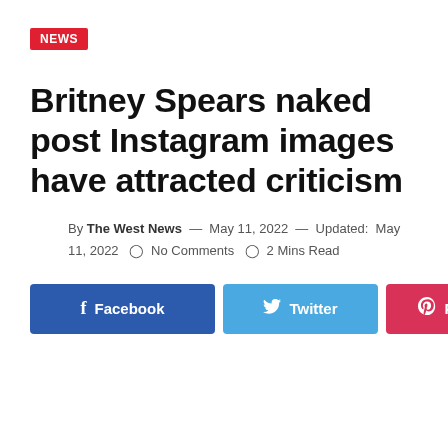NEWS
Britney Spears naked post Instagram images have attracted criticism
By The West News — May 11, 2022 — Updated: May 11, 2022  No Comments  2 Mins Read
[Figure (infographic): Social sharing buttons row: Facebook (blue), Twitter (light blue), Pinterest (red/pink), and a share icon button (white/grey)]